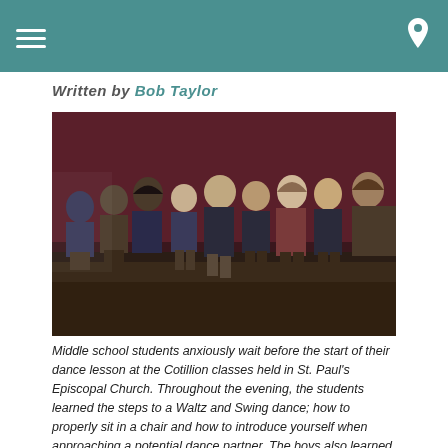Written by Bob Taylor
[Figure (photo): Group of middle school students sitting in chairs along a wall, waiting before a dance lesson at Cotillion classes held in St. Paul's Episcopal Church. Boys are dressed in blazers and dress pants; girls in dresses. A teacher or adult figure is partially visible on the far right.]
Middle school students anxiously wait before the start of their dance lesson at the Cotillion classes held in St. Paul's Episcopal Church. Throughout the evening, the students learned the steps to a Waltz and Swing dance; how to properly sit in a chair and how to introduce yourself when approaching a potential dance partner. The boys also learned how to escort a partner on and off the dance floor.